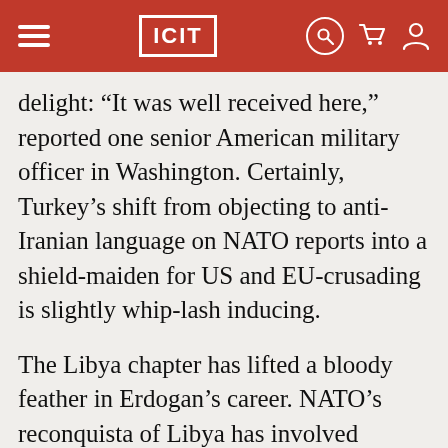ICIT
delight: “It was well received here,” reported one senior American military officer in Washington. Certainly, Turkey’s shift from objecting to anti-Iranian language on NATO reports into a shield-maiden for US and EU-crusading is slightly whip-lash inducing.
The Libya chapter has lifted a bloody feather in Erdogan’s career. NATO’s reconquista of Libya has involved genocide, a result of massive bombing campaigns over the city in order to destroy infrastructure, kill pro-